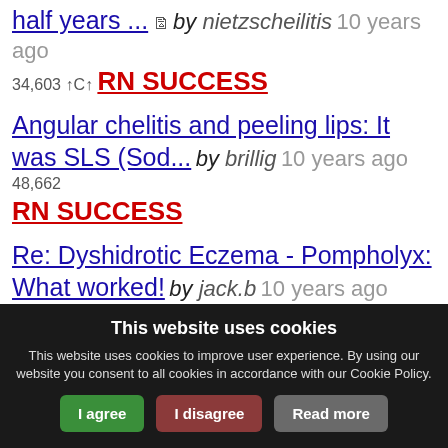half years ... by nietzscheilitis 10 years ago 34,603 ↑C↑ RN SUCCESS
Angular chelitis and peeling lips: It was SLS (Sod... by brillig 10 years ago 48,662 RN SUCCESS
Re: Dyshidrotic Eczema - Pompholyx: What worked! by jack.b 10 years ago 342,544 RN SUCCESS
Just wanted to say THANK YOU! :) by SufferingEczema 11 years ago 3,074... ↑C↑
This website uses cookies
This website uses cookies to improve user experience. By using our website you consent to all cookies in accordance with our Cookie Policy.
I agree | I disagree | Read more